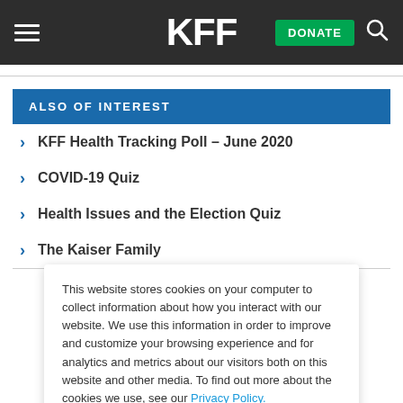KFF | DONATE
ALSO OF INTEREST
KFF Health Tracking Poll – June 2020
COVID-19 Quiz
Health Issues and the Election Quiz
The Kaiser Family
This website stores cookies on your computer to collect information about how you interact with our website. We use this information in order to improve and customize your browsing experience and for analytics and metrics about our visitors both on this website and other media. To find out more about the cookies we use, see our Privacy Policy.